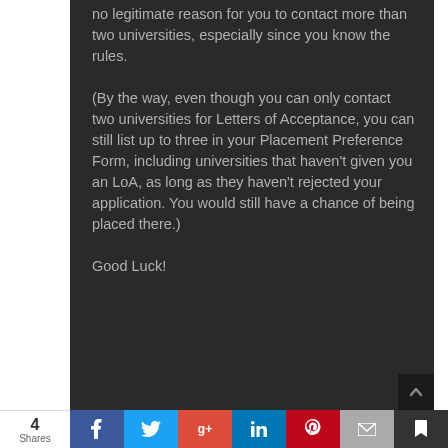no legitimate reason for you to contact more than two universities, especially since you know the rules.
(By the way, even though you can only contact two universities for Letters of Acceptance, you can still list up to three in your Placement Preference Form, including universities that haven't given you an LoA, as long as they haven't rejected your application. You would still have a chance of being placed there.)
Good Luck!
4 Shares | Facebook | Twitter | Google+ | LinkedIn | Pinterest | Email | Bookmark